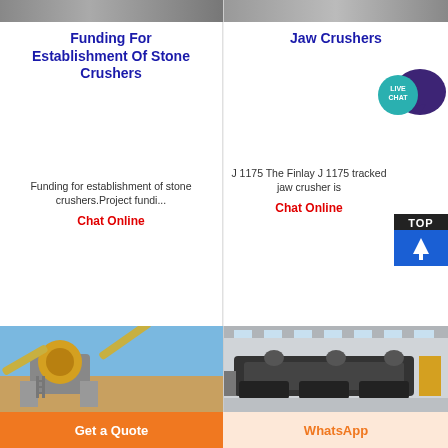[Figure (photo): Top strip image of industrial stone crushing machinery]
Funding For Establishment Of Stone Crushers
Jaw Crushers
[Figure (illustration): Live Chat speech bubble icon in teal/purple]
Funding for establishment of stone crushers.Project fundi...
Chat Online
J 1175 The Finlay J 1175 tracked jaw crusher is ...
Chat Online
[Figure (photo): Cone crusher and conveyor system outdoor installation]
[Figure (photo): Industrial jaw crusher machinery in factory hall]
Get a Quote
WhatsApp